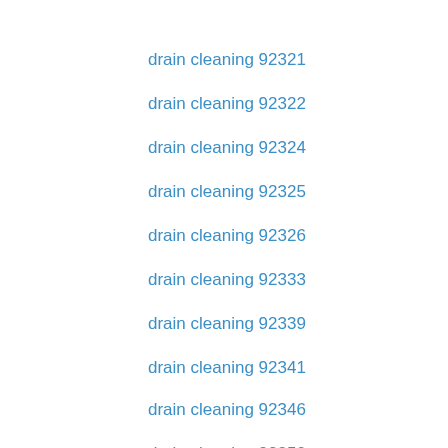drain cleaning 92321
drain cleaning 92322
drain cleaning 92324
drain cleaning 92325
drain cleaning 92326
drain cleaning 92333
drain cleaning 92339
drain cleaning 92341
drain cleaning 92346
drain cleaning 92350